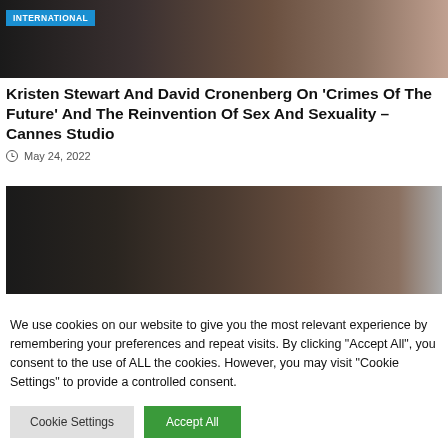[Figure (photo): Photo of people at Cannes event with INTERNATIONAL badge overlay at top]
Kristen Stewart And David Cronenberg On 'Crimes Of The Future' And The Reinvention Of Sex And Sexuality – Cannes Studio
May 24, 2022
[Figure (photo): Photo of man in tuxedo and woman in red dress at Cannes red carpet event]
We use cookies on our website to give you the most relevant experience by remembering your preferences and repeat visits. By clicking "Accept All", you consent to the use of ALL the cookies. However, you may visit "Cookie Settings" to provide a controlled consent.